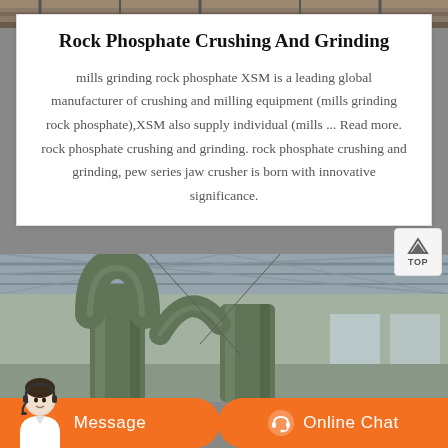[Figure (photo): Top strip showing industrial/factory background image]
Rock Phosphate Crushing And Grinding
mills grinding rock phosphate XSM is a leading global manufacturer of crushing and milling equipment (mills grinding rock phosphate),XSM also supply individual (mills ... Read more. rock phosphate crushing and grinding. rock phosphate crushing and grinding, pew series jaw crusher is born with innovative significance.
[Figure (photo): Factory interior photo showing large industrial pipes/ducts in a warehouse setting with steel roof structure]